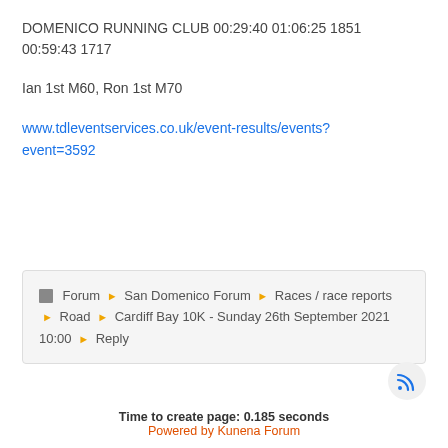DOMENICO RUNNING CLUB 00:29:40 01:06:25 1851 00:59:43 1717
Ian 1st M60, Ron 1st M70
www.tdleventservices.co.uk/event-results/events?event=3592
Forum ▶ San Domenico Forum ▶ Races / race reports ▶ Road ▶ Cardiff Bay 10K - Sunday 26th September 2021 10:00 ▶ Reply
Time to create page: 0.185 seconds
Powered by Kunena Forum